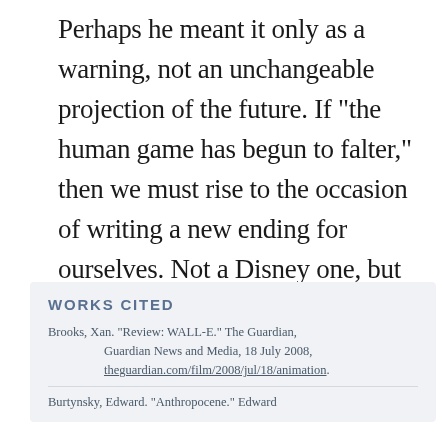Perhaps he meant it only as a warning, not an unchangeable projection of the future. If "the human game has begun to falter," then we must rise to the occasion of writing a new ending for ourselves. Not a Disney one, but a human one, of perseverance and connection and messy progress. We can only hope it's enough. ◆
WORKS CITED
Brooks, Xan. "Review: WALL-E." The Guardian, Guardian News and Media, 18 July 2008, theguardian.com/film/2008/jul/18/animation.
Burtynsky, Edward. "Anthropocene." Edward